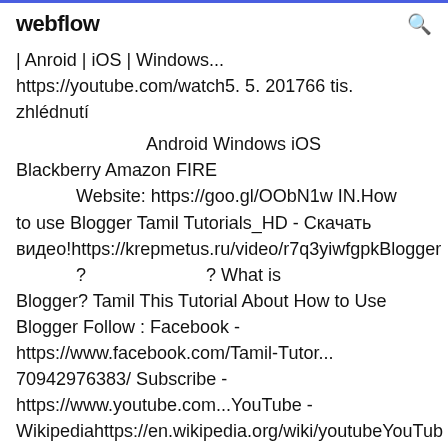webflow
| Anroid | iOS | Windows...
https://youtube.com/watch5. 5. 201766 tis.
zhlédnutí

                    Android Windows iOS
Blackberry Amazon FIRE
           Website: https://goo.gl/OObN1w IN.How
to use Blogger Tamil Tutorials_HD - Скачать
видео!https://krepmetus.ru/video/r7q3yiwfgpkBlogger
             ?                          ? What is
Blogger? Tamil This Tutorial About How to Use
Blogger Follow : Facebook -
https://www.facebook.com/Tamil-Tutor...
70942976383/ Subscribe -
https://www.youtube.com...YouTube -
Wikipediahttps://en.wikipedia.org/wiki/youtubeYouTub